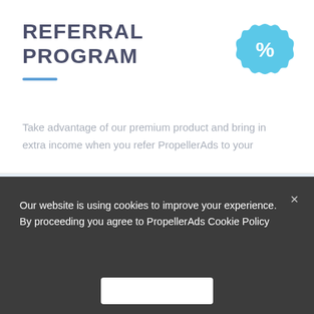REFERRAL PROGRAM
[Figure (illustration): Blue scalloped badge/seal icon with a percent sign (%) in white in the center]
Take advantage of our premium product and bring in extra income when you refer PropellerAds to your
[Figure (illustration): Light blue background section with a green outline paper airplane icon, a line chart with a green upward arrow, and a 'Try your luck' card with a cyan border]
Our website is using cookies to improve your experience. By proceeding you agree to PropellerAds Cookie Policy